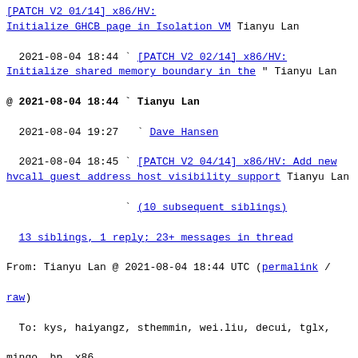2021-08-04 18:44 ` [PATCH V2 01/14] x86/HV: Initialize GHCB page in Isolation VM Tianyu Lan
  2021-08-04 18:44 ` [PATCH V2 02/14] x86/HV: Initialize shared memory boundary in the " Tianyu Lan
@ 2021-08-04 18:44 ` Tianyu Lan
  2021-08-04 19:27   ` Dave Hansen
  2021-08-04 18:45 ` [PATCH V2 04/14] x86/HV: Add new hvcall guest address host visibility support Tianyu Lan
                   ` (10 subsequent siblings)
  13 siblings, 1 reply; 23+ messages in thread
From: Tianyu Lan @ 2021-08-04 18:44 UTC (permalink / raw)
  To: kys, haiyangz, sthemmin, wei.liu, decui, tglx, mingo, bp, x86,
        hpa, dave.hansen, luto, peterz, konrad.wilk, boris.ostrovsky,
        jgross, sstabellini, joro, will, davem, kuba, jejb,
        martin.petersen, arnd, hch, m.szyprowski, robin.murphy,
        Tianyu.Lan, rppt, kirill.shutemov, akpm, brijesh.singh,
        thomas.lendacky, pgonda, david, krish.sadhukhan, saravanand,
        aneesh.kumar, xen-devel, martin.b.radev, ardb, rientjes, tj,
        keescook, michael.h.kelley
  Cc: iommu, linux-arch, linux-hyperv, linux-kernel, linux-scsi,
        netdev, vkuznets, parri.andrea